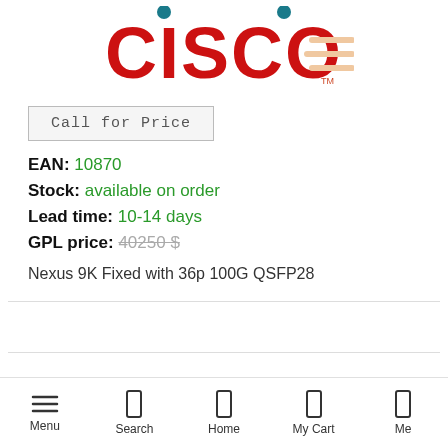[Figure (logo): Cisco logo in red with horizontal lines design mark]
Call for Price
EAN: 10870
Stock: available on order
Lead time: 10-14 days
GPL price: 40250 $
Nexus 9K Fixed with 36p 100G QSFP28
Menu  Search  Home  My Cart  Me